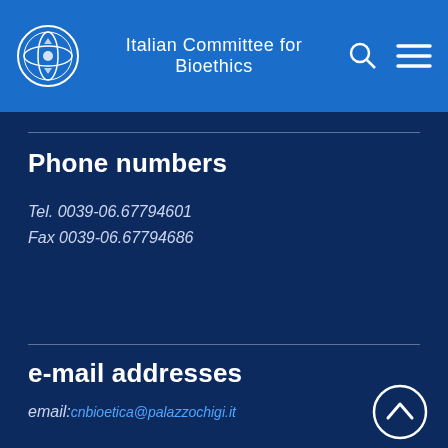Italian Committee for Bioethics
Phone numbers
Tel. 0039-06.67794601
Fax 0039-06.67794686
e-mail addresses
email: cnbioetica@palazzochigi.it